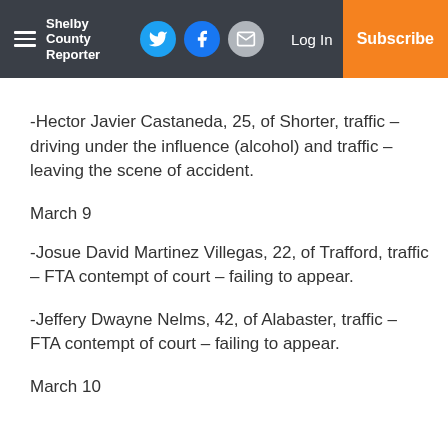Shelby County Reporter — Log In | Subscribe
-Hector Javier Castaneda, 25, of Shorter, traffic – driving under the influence (alcohol) and traffic – leaving the scene of accident.
March 9
-Josue David Martinez Villegas, 22, of Trafford, traffic – FTA contempt of court – failing to appear.
-Jeffery Dwayne Nelms, 42, of Alabaster, traffic – FTA contempt of court – failing to appear.
March 10